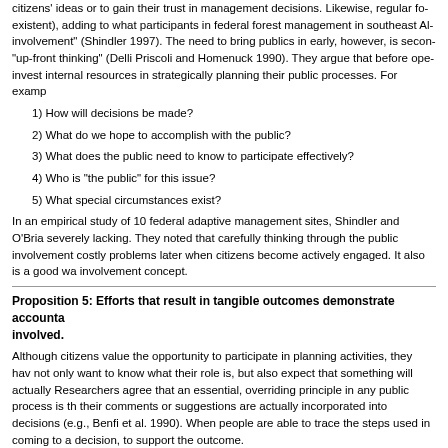citizens' ideas or to gain their trust in management decisions. Likewise, regular (on existent), adding to what participants in federal forest management in southeast Al involvement" (Shindler 1997). The need to bring publics in early, however, is seco "up-front thinking" (Delli Priscoli and Homenuck 1990). They argue that before ope invest internal resources in strategically planning their public processes. For examp
1) How will decisions be made?
2) What do we hope to accomplish with the public?
3) What does the public need to know to participate effectively?
4) Who is "the public" for this issue?
5) What special circumstances exist?
In an empirical study of 10 federal adaptive management sites, Shindler and O'Bria severely lacking. They noted that carefully thinking through the public involvement costly problems later when citizens become actively engaged. It also is a good wa involvement concept.
Proposition 5: Efforts that result in tangible outcomes demonstrate accounta involved.
Although citizens value the opportunity to participate in planning activities, they hav not only want to know what their role is, but also expect that something will actually Researchers agree that an essential, overriding principle in any public process is th their comments or suggestions are actually incorporated into decisions (e.g., Benfi et al. 1990). When people are able to trace the steps used in coming to a decision, to support the outcome.
A distinction is made between simply listening to the public vs. actually allowing the allocation. This distinction is hard to establish. As long as the ultimate decisions...